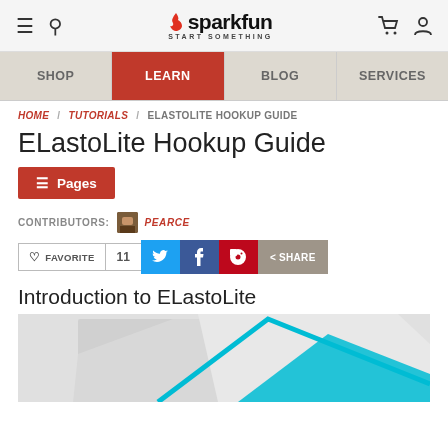SparkFun Electronics — START SOMETHING
SHOP | LEARN | BLOG | SERVICES
HOME / TUTORIALS / ELASTOLITE HOOKUP GUIDE
ELastoLite Hookup Guide
≡ Pages
CONTRIBUTORS: PEARCE
♡ FAVORITE  11  [Twitter] [Facebook] [Pinterest] < SHARE
Introduction to ELastoLite
[Figure (photo): Partial view of ELastoLite electroluminescent panel with teal/cyan color on light gray background]